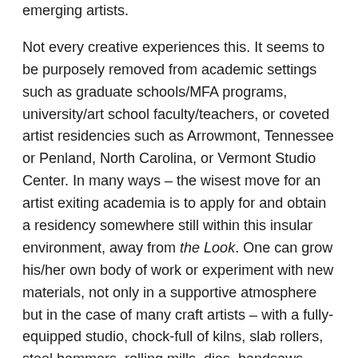emerging artists.
Not every creative experiences this. It seems to be purposely removed from academic settings such as graduate schools/MFA programs, university/art school faculty/teachers, or coveted artist residencies such as Arrowmont, Tennessee or Penland, North Carolina, or Vermont Studio Center. In many ways – the wisest move for an artist exiting academia is to apply for and obtain a residency somewhere still within this insular environment, away from the Look. One can grow his/her own body of work or experiment with new materials, not only in a supportive atmosphere but in the case of many craft artists – with a fully-equipped studio, chock-full of kilns, slab rollers, steel hammers, rolling mills, dies, bandsaws – without that costly expense to set up one's own full-time studio.